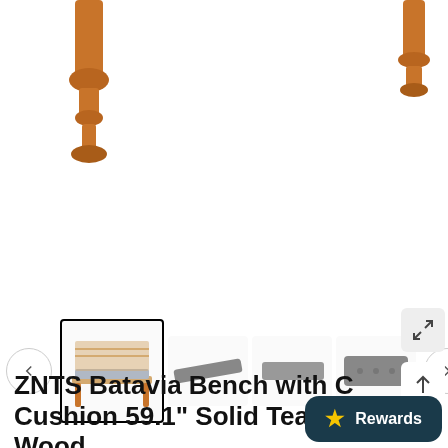[Figure (photo): Product image area showing teak wood bench legs (close-up) on white background, partially cropped]
[Figure (photo): Thumbnail carousel with left/right navigation arrows. Selected thumbnail shows full bench with cushion. Other thumbnails show cushion at various angles and flat views.]
[Figure (infographic): Ask an expert bar with customer service avatar icon, question mark icon, 'Have Questions?' text and 'ASK AN EXPERT' yellow button]
ZNTS Batavia Bench with Cushion 59.1" Solid Teak Wood
[Figure (infographic): Dark teal Rewards badge with star icon in bottom right corner]